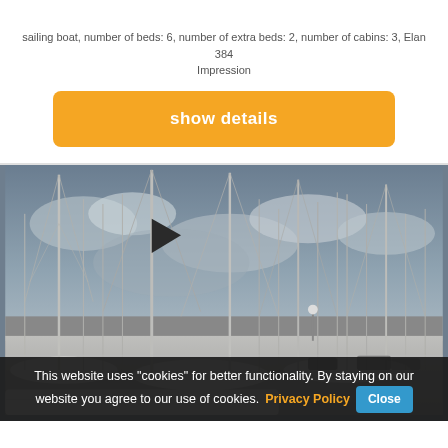sailing boat, number of beds: 6, number of extra beds: 2, number of cabins: 3, Elan 384 Impression
show details
[Figure (photo): Marina with many sailboat masts against a cloudy sky, boats and cars visible in background]
This website uses "cookies" for better functionality. By staying on our website you agree to our use of cookies. Privacy Policy Close